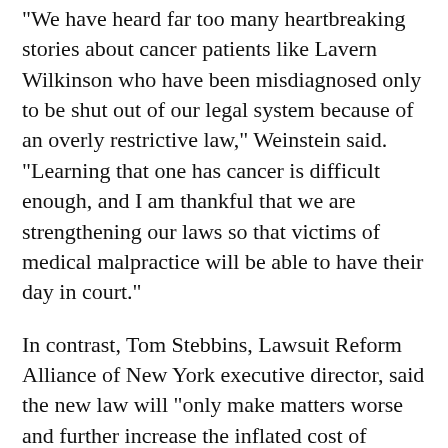“We have heard far too many heartbreaking stories about cancer patients like Lavern Wilkinson who have been misdiagnosed only to be shut out of our legal system because of an overly restrictive law,” Weinstein said. “Learning that one has cancer is difficult enough, and I am thankful that we are strengthening our laws so that victims of medical malpractice will be able to have their day in court.”
In contrast, Tom Stebbins, Lawsuit Reform Alliance of New York executive director, said the new law will “only make matters worse and further increase the inflated cost of medical liability insurance for doctors and hospitals.”
Opposition is based on the concern that the law will have a detrimental impact on access to care for life saving operations and care management. H...